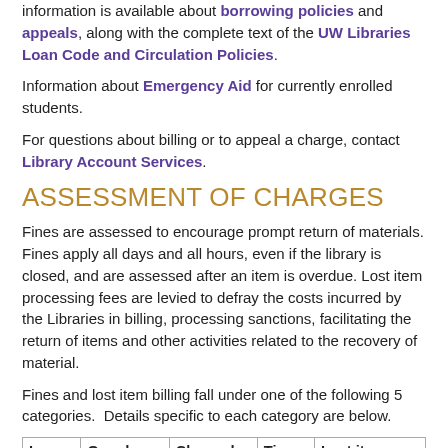information is available about borrowing policies and appeals, along with the complete text of the UW Libraries Loan Code and Circulation Policies.
Information about Emergency Aid for currently enrolled students.
For questions about billing or to appeal a charge, contact Library Account Services.
ASSESSMENT OF CHARGES
Fines are assessed to encourage prompt return of materials. Fines apply all days and all hours, even if the library is closed, and are assessed after an item is overdue. Lost item processing fees are levied to defray the costs incurred by the Libraries in billing, processing sanctions, facilitating the return of items and other activities related to the recovery of material.
Fines and lost item billing fall under one of the following 5 categories.  Details specific to each category are below.
| Loan type | Overdue fines | Charged hourly | Time of | Lost item processing |
| --- | --- | --- | --- | --- |